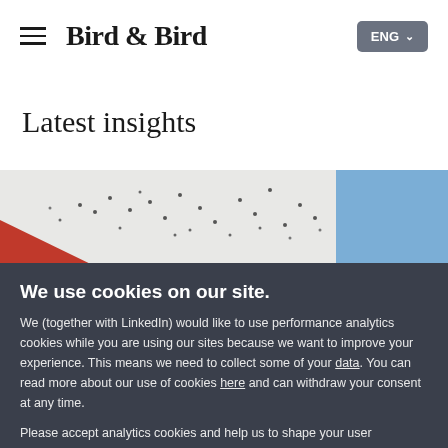Bird & Bird — ENG navigation bar
Latest insights
[Figure (photo): Aerial view of people walking on a plaza with a red geometric shape in lower left corner, and a partial blue panel on the right]
We use cookies on our site.
We (together with LinkedIn) would like to use performance analytics cookies while you are using our sites because we want to improve your experience. This means we need to collect some of your data. You can read more about our use of cookies here and can withdraw your consent at any time.
Please accept analytics cookies and help us to shape your user experience.
No analytics please
Allow analytics